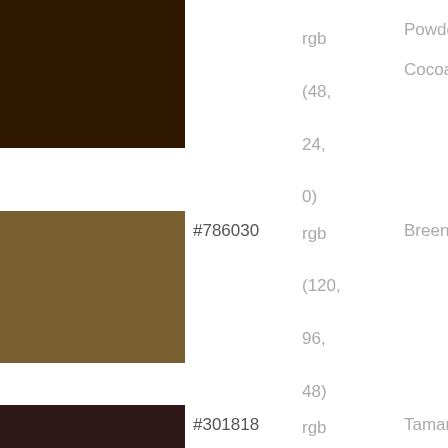| Color | Hex | RGB | Name |
| --- | --- | --- | --- |
| [dark brown swatch] | #301800 | rgb (48, 24, 0) | Powdered Cocoa |
| [tan/olive swatch] | #786030 | rgb (120, 96, 48) | Breen |
| [dark maroon swatch] | #301818 | rgb (48, 24, 24) | Tamarind |
| [tan swatch] | #907848 | rgb | Wool |